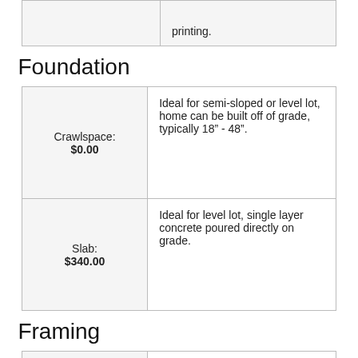|  | printing. |
Foundation
| Crawlspace: $0.00 | Ideal for semi-sloped or level lot, home can be built off of grade, typically 18” - 48”. |
| Slab: $340.00 | Ideal for level lot, single layer concrete poured directly on grade. |
Framing
| Wood 2x6: $0.00 | Wood 2x6 |